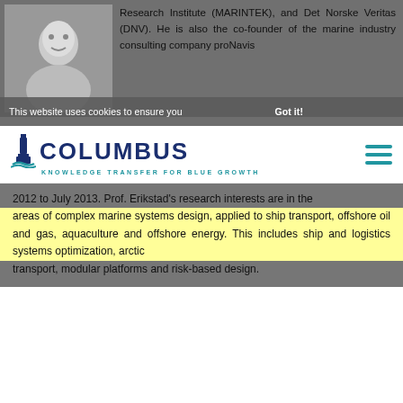[Figure (photo): Grayscale portrait photo of a man smiling]
Research Institute (MARINTEK), and Det Norske Veritas (DNV). He is also the co-founder of the marine industry consulting company proNavis
This website uses cookies to ensure you Got it!
[Figure (logo): Columbus - Knowledge Transfer for Blue Growth logo with lighthouse icon]
2012 to July 2013. Prof. Erikstad's research interests are in the areas of complex marine systems design, applied to ship transport, offshore oil and gas, aquaculture and offshore energy. This includes ship and logistics systems optimization, arctic transport, modular platforms and risk-based design.